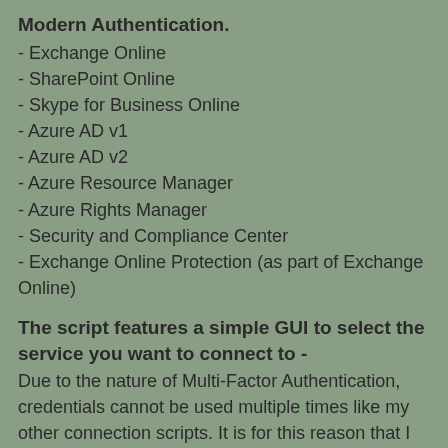Modern Authentication.
- Exchange Online
- SharePoint Online
- Skype for Business Online
- Azure AD v1
- Azure AD v2
- Azure Resource Manager
- Azure Rights Manager
- Security and Compliance Center
- Exchange Online Protection (as part of Exchange Online)
The script features a simple GUI to select the service you want to connect to -
Due to the nature of Multi-Factor Authentication, credentials cannot be used multiple times like my other connection scripts. It is for this reason that I have utilised a fully functional GUI where you simply choose the Office 365 service you want to connect to with Modern Authentication.
- Non-MFA enabled account
You will be presented with a pop-up credential window. Enter your administrator UPN and password and you will then be